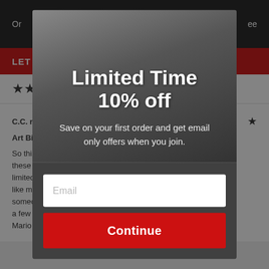[Figure (screenshot): Background webpage showing top navigation bar, red LET C... bar, star rating row, and a product review by C.C. about Art Big...]
[Figure (screenshot): Modal popup overlay offering Limited Time 10% off discount with email signup form and Continue button]
Limited Time
10% off
Save on your first order and get email only offers when you join.
Email
Continue